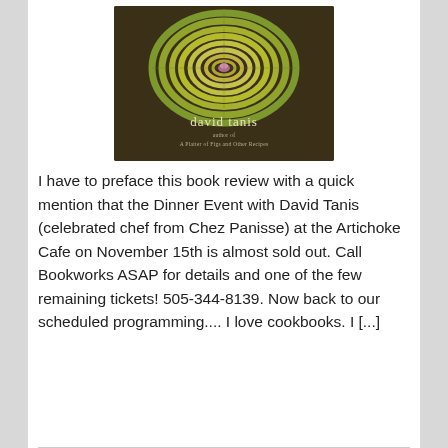[Figure (photo): Book cover for David Tanis cookbook showing a spiraled artichoke on a dark wood background with author name 'david tanis' and subtitle 'A Platter of Figs and Other Recipes']
I have to preface this book review with a quick mention that the Dinner Event with David Tanis (celebrated chef from Chez Panisse) at the Artichoke Cafe on November 15th is almost sold out. Call Bookworks ASAP for details and one of the few remaining tickets! 505-344-8139. Now back to our scheduled programming.... I love cookbooks. I [...]